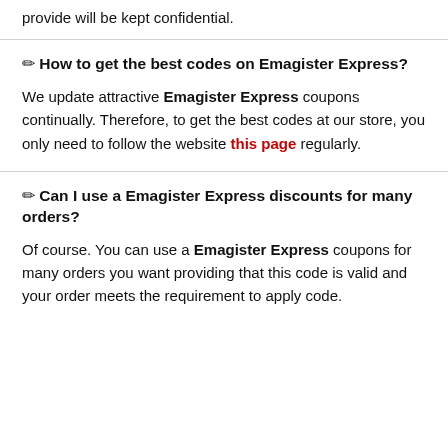provide will be kept confidential.
✏ How to get the best codes on Emagister Express?
We update attractive Emagister Express coupons continually. Therefore, to get the best codes at our store, you only need to follow the website this page regularly.
✏ Can I use a Emagister Express discounts for many orders?
Of course. You can use a Emagister Express coupons for many orders you want providing that this code is valid and your order meets the requirement to apply code.